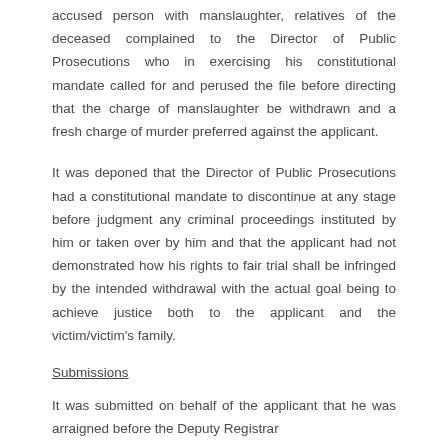accused person with manslaughter, relatives of the deceased complained to the Director of Public Prosecutions who in exercising his constitutional mandate called for and perused the file before directing that the charge of manslaughter be withdrawn and a fresh charge of murder preferred against the applicant.
It was deponed that the Director of Public Prosecutions had a constitutional mandate to discontinue at any stage before judgment any criminal proceedings instituted by him or taken over by him and that the applicant had not demonstrated how his rights to fair trial shall be infringed by the intended withdrawal with the actual goal being to achieve justice both to the applicant and the victim/victim's family.
Submissions
It was submitted on behalf of the applicant that he was arraigned before the Deputy Registrar on 29th July 2014 in accordance with the...